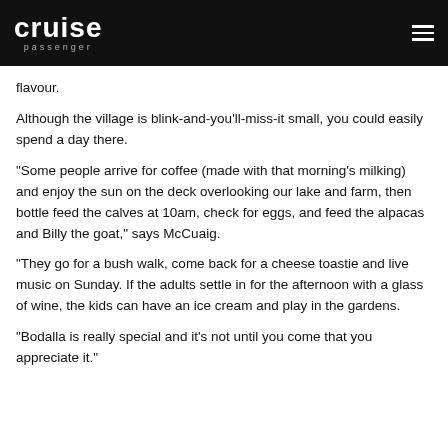cruise passenger
flavour.
Although the village is blink-and-you'll-miss-it small, you could easily spend a day there.
“Some people arrive for coffee (made with that morning’s milking) and enjoy the sun on the deck overlooking our lake and farm, then bottle feed the calves at 10am, check for eggs, and feed the alpacas and Billy the goat,” says McCuaig.
“They go for a bush walk, come back for a cheese toastie and live music on Sunday. If the adults settle in for the afternoon with a glass of wine, the kids can have an ice cream and play in the gardens.
“Bodalla is really special and it’s not until you come that you appreciate it.”